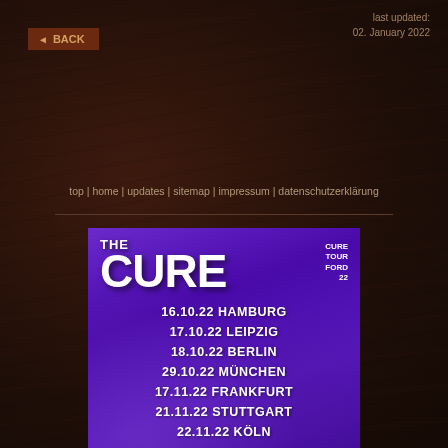◄ BACK
last updated:
02. January 2022
top | home | updates | sitemap | impressum | datenschutzerklärung
[Figure (illustration): The Cure – Cure Tour Ford 22 concert poster with purple background and swirl design. Lists tour dates: 16.10.22 Hamburg, 17.10.22 Leipzig, 18.10.22 Berlin, 29.10.22 München, 17.11.22 Frankfurt, 21.11.22 Stuttgart, 22.11.22 Köln. Bottom text: JETZT HIER in yellow.]